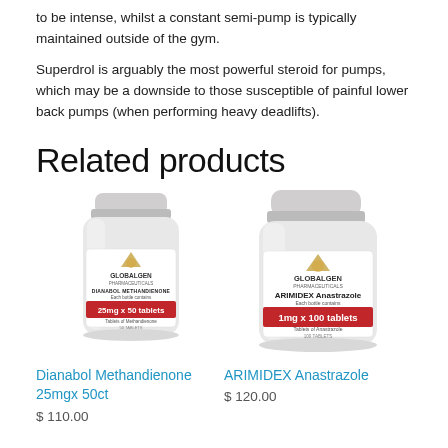to be intense, whilst a constant semi-pump is typically maintained outside of the gym.
Superdrol is arguably the most powerful steroid for pumps, which may be a downside to those susceptible of painful lower back pumps (when performing heavy deadlifts).
Related products
[Figure (photo): Product bottle of Dianabol Methandienone 25mgx 50ct by Globalgen Pharmaceuticals, white pill bottle with red label]
Dianabol Methandienone 25mgx 50ct
$ 110.00
[Figure (photo): Product bottle of ARIMIDEX Anastrazole 1mg x 100 tablets by Globalgen Pharmaceuticals, white pill bottle with red label]
ARIMIDEX Anastrazole
$ 120.00